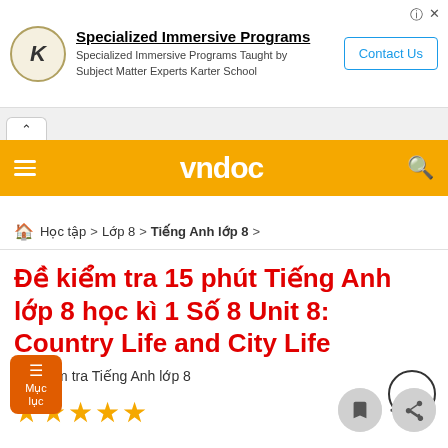[Figure (screenshot): Advertisement banner for Karter School Specialized Immersive Programs with logo, text and Contact Us button]
[Figure (logo): VNDoc navigation bar with hamburger menu, vndoc logo and search icon on orange background]
Học tập > Lớp 8 > Tiếng Anh lớp 8 >
Đề kiểm tra 15 phút Tiếng Anh lớp 8 học kì 1 Số 8 Unit 8: Country Life and City Life
Đề kiểm tra Tiếng Anh lớp 8
[Figure (other): 5 gold stars rating]